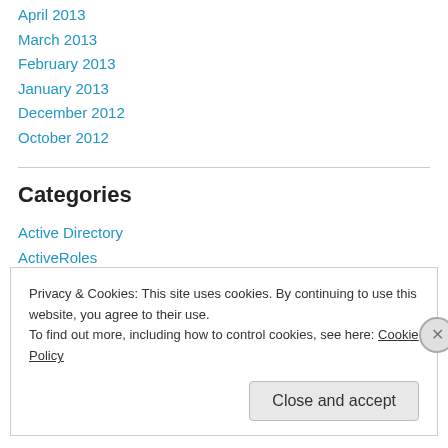April 2013
March 2013
February 2013
January 2013
December 2012
October 2012
Categories
Active Directory
ActiveRoles
Carlessness
Exchange
Privacy & Cookies: This site uses cookies. By continuing to use this website, you agree to their use.
To find out more, including how to control cookies, see here: Cookie Policy
Close and accept